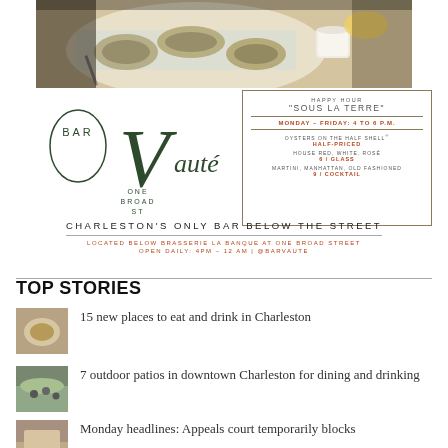[Figure (photo): Overhead photo of oysters on the half shell on a plate with ice and a small cup of sauce, with lemon wedges]
[Figure (infographic): Bar Vauté advertisement. Logo on left with script and serif text reading BAR Vauté ONE BROAD ST. On right, a bordered box with happy hour details: HAPPY HOUR 'SOUS LA TERRE', MONDAY – FRIDAY: 4 TO 6 P.M., OYSTERS ON THE HALF SHELL HALF-PRICED, HOUSE RED, WHITE, ROSÉ 6/GLASS, MARTINI, MANHATTAN, OLD FASHIONED 9/COCKTAIL. Below: CHARLESTON'S ONLY BAR BELOW THE STREET. LOCATED BELOW BRASSERIE LA BANQUE AT ONE BROAD STREET. OPEN DAILY: 4PM – 12 AM | @BARVAUTE]
TOP STORIES
15 new places to eat and drink in Charleston
7 outdoor patios in downtown Charleston for dining and drinking
Monday headlines: Appeals court temporarily blocks